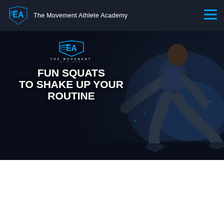The Movement Athlete Academy
[Figure (illustration): Hero banner image showing a male athlete in a deep lunge/squat stretch position on a dark background with blue lighting effects. Overlaid text reads 'FUN SQUATS TO SHAKE UP YOUR ROUTINE' with The Movement Athlete logo above.]